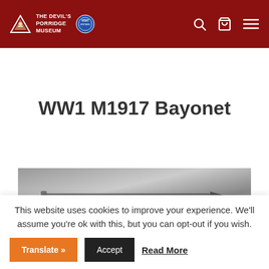The Devil's Porridge Museum
WW1 M1917 Bayonet
[Figure (photo): Partial photo of WW1 M1917 Bayonet artifact on grey background]
This website uses cookies to improve your experience. We'll assume you're ok with this, but you can opt-out if you wish.